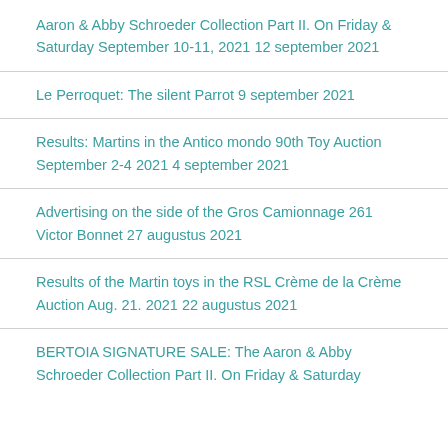Aaron & Abby Schroeder Collection Part II. On Friday & Saturday September 10-11, 2021 12 september 2021
Le Perroquet: The silent Parrot 9 september 2021
Results: Martins in the Antico mondo 90th Toy Auction September 2-4 2021 4 september 2021
Advertising on the side of the Gros Camionnage 261 Victor Bonnet 27 augustus 2021
Results of the Martin toys in the RSL Crème de la Crème Auction Aug. 21. 2021 22 augustus 2021
BERTOIA SIGNATURE SALE: The Aaron & Abby Schroeder Collection Part II. On Friday & Saturday